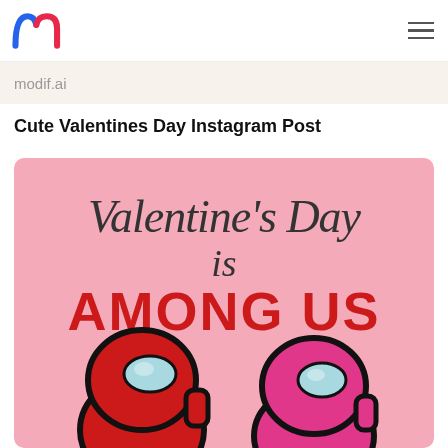modif.ai
Cute Valentines Day Instagram Post
[Figure (illustration): A pink-background Valentine's Day graphic with the text 'Valentine's Day is AMONG US' in cursive and bold red letters, with two Among Us game character crewmates — one red and one pink — visible from the shoulders up at the bottom.]